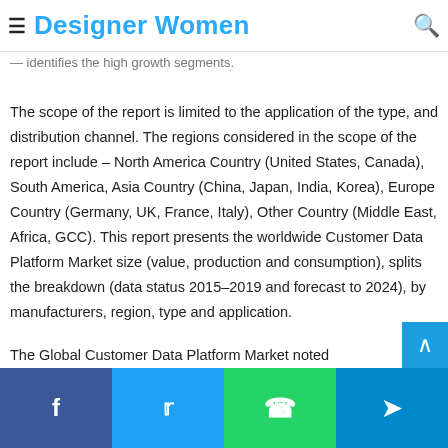Designer Women
Market Report analyzes and identifies in the overall Customer Data Platform Market the key players and identifies the high growth segments.
The scope of the report is limited to the application of the type, and distribution channel. The regions considered in the scope of the report include – North America Country (United States, Canada), South America, Asia Country (China, Japan, India, Korea), Europe Country (Germany, UK, France, Italy), Other Country (Middle East, Africa, GCC). This report presents the worldwide Customer Data Platform Market size (value, production and consumption), splits the breakdown (data status 2015–2019 and forecast to 2024), by manufacturers, region, type and application.
The Global Customer Data Platform Market noted...
Facebook  Twitter  WhatsApp  Telegram